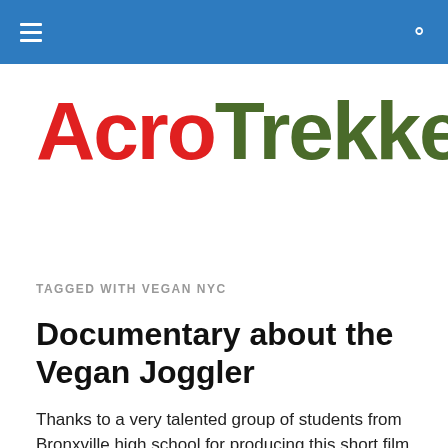AcroTrekker
TAGGED WITH VEGAN NYC
Documentary about the Vegan Joggler
Thanks to a very talented group of students from Bronxville high school for producing this short film